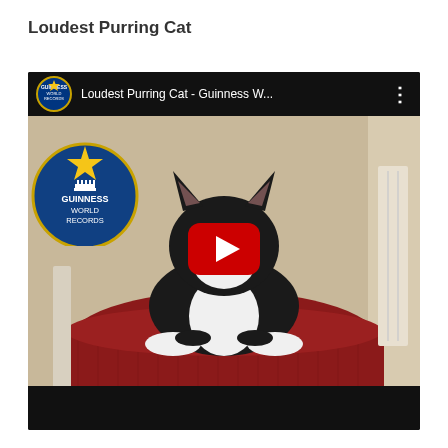Loudest Purring Cat
[Figure (screenshot): YouTube video thumbnail showing a black and white tuxedo cat resting on a dark red chair arm, with a Guinness World Records badge overlay on the left, video title 'Loudest Purring Cat - Guinness W...' in the top bar, and a red YouTube play button in the center.]